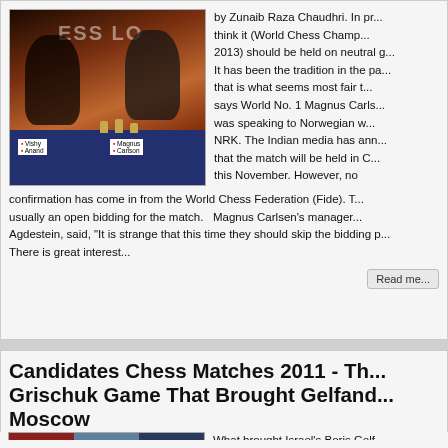[Figure (photo): Two chess players (Vishy Anand and Magnus Carlsen) seated at a chess board with CHESS LO... text visible in background]
think it (World Chess Champ... 2013) should be held on neutral g... It has been the tradition in the pa... that is what seems most fair t... says World No. 1 Magnus Carls... was speaking to Norwegian ... NRK. The Indian media has ann... that the match will be held in C... this November. However, no confirmation has come in from the World Chess Federation (Fide). T... usually an open bidding for the match. Magnus Carlsen's manager... Agdestein, said, "It is strange that this time they should skip the bidding p... There is great interest...
Read me...
Candidates Chess Matches 2011 - Th... Grischuk Game That Brought Gelfand... Moscow
[Figure (photo): Three chess players or commentators shown in a TV-style panel format with red and blue backgrounds]
What brought Israel's Boris Gelf... the World Chess Championship 2... Moscow? Israeli Boris Gelfand...